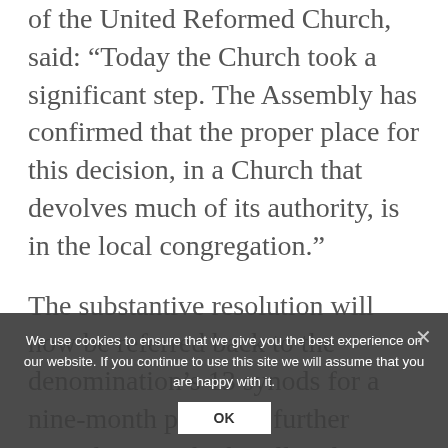of the United Reformed Church, said: “Today the Church took a significant step. The Assembly has confirmed that the proper place for this decision, in a Church that devolves much of its authority, is in the local congregation.”
The substantive resolution will now be referred back to the denomination’s 13 synods for a nine-month period of further consultation which will end on 31 March. If [more] vote against [the proposal] then it fails; otherwise it would be brought back to General Assembly in July 2016, where a
We use cookies to ensure that we give you the best experience on our website. If you continue to use this site we will assume that you are happy with it.